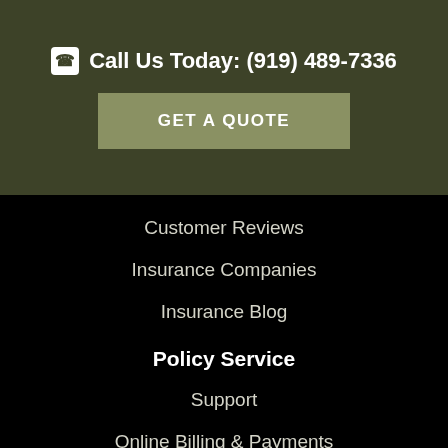Call Us Today: (919) 489-7336
GET A QUOTE
Customer Reviews
Insurance Companies
Insurance Blog
Policy Service
Support
Online Billing & Payments
File A Claim
Policy Change Request